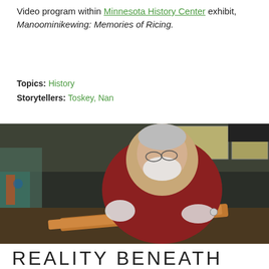Video program within Minnesota History Center exhibit, Manoominikewing: Memories of Ricing.
Topics: History
Storytellers: Toskey, Nan
[Figure (photo): An older man with white beard and glasses, wearing a red shirt and white gloves, working at a workbench in a cluttered workshop. He is holding and examining a wooden object. He wears a watch on his wrist.]
REALITY BENEATH